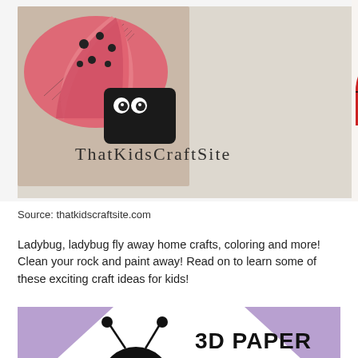[Figure (photo): Photo collage of ladybug crafts with 'ThatKidsCraftSite' text overlay. Shows paper fan ladybug, black body with googly eyes on left, and red/black circular ladybug ornaments on right against white background.]
Source: thatkidscraftsite.com
Ladybug, ladybug fly away home crafts, coloring and more! Clean your rock and paint away! Read on to learn some of these exciting craft ideas for kids!
[Figure (photo): Photo of a 3D paper ladybug craft against a purple/white geometric background. Shows a black rounded head with googly eyes and antennae, red accordion-folded paper wings with black dots. Text reads '3D PAPER ladybugs' in bold black lettering.]